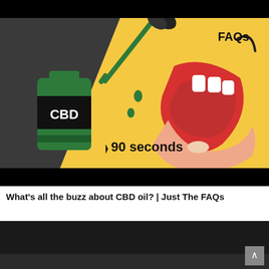[Figure (screenshot): Video thumbnail showing a CBD oil bottle with a dropper dispensing green liquid drops into an open mouth. The background is split: dark grey on the left (with bottle and dropper illustration) and yellow/gold on the right (with open-mouth illustration). Text 'FAQs' appears in bold top right corner. A play button triangle with '90 seconds' text is shown at the bottom centre. The CBD bottle has a black label with white bold text 'CBD' and green cap/bottom stripe.]
What's all the buzz about CBD oil? | Just The FAQs
[Figure (screenshot): Partially visible second video thumbnail, mostly dark/black with some content barely visible at the bottom edge.]